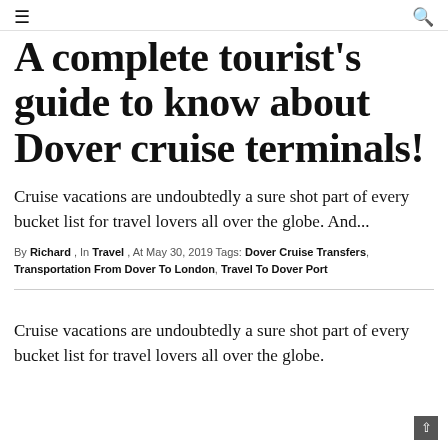≡  🔍
A complete tourist's guide to know about Dover cruise terminals!
Cruise vacations are undoubtedly a sure shot part of every bucket list for travel lovers all over the globe. And...
By Richard , In Travel , At May 30, 2019 Tags: Dover Cruise Transfers, Transportation From Dover To London, Travel To Dover Port
Cruise vacations are undoubtedly a sure shot part of every bucket list for travel lovers all over the globe.